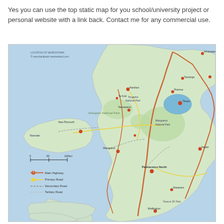Yes you can use the top static map for you school/university project or personal website with a link back. Contact me for any commercial use.
[Figure (map): Static road map of the North Island of New Zealand showing highways, primary roads, secondary roads, cities and towns including Palmerston North, Taupo, Wanganui, and National Parks. Legend shows Main Highway, Primary Road, Secondary Road, Tertiary Road. Scale bar shows 0-50-100km. Watermark: www.backpack-newzealand.com]